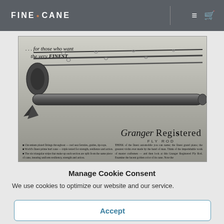FINE • CANE
[Figure (photo): Vintage advertisement for Granger Registered Fly Rod showing three fishing rods and a reel, with text '...for those who want the very FINEST' and description of the rod's features including chromium plated fittings, world's finest prime burl cane, and triangular strips.]
Manage Cookie Consent
We use cookies to optimize our website and our service.
Accept